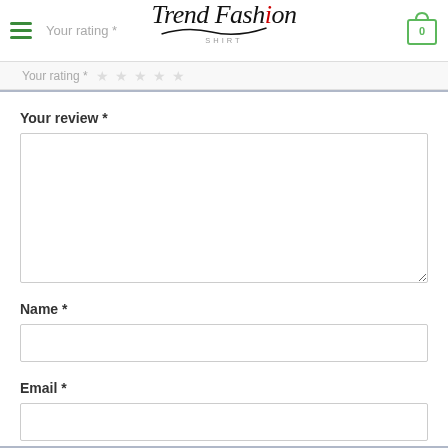Add a review
[Figure (logo): Trend Fashion Shirt logo with cursive script text and red letter i]
Your rating *
Your review *
Name *
Email *